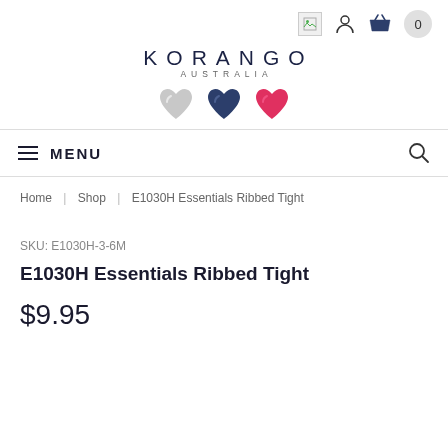Korango Australia - navigation header with cart icon showing 0 items
[Figure (logo): Korango Australia logo with text KORANGO AUSTRALIA and three hearts (grey, navy, pink)]
≡ MENU
Home | Shop | E1030H Essentials Ribbed Tight
SKU: E1030H-3-6M
E1030H Essentials Ribbed Tight
$9.95